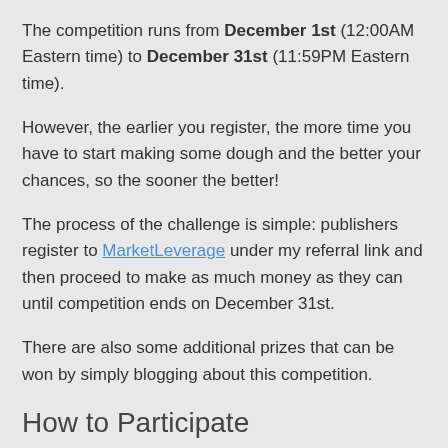The competition runs from December 1st (12:00AM Eastern time) to December 31st (11:59PM Eastern time).
However, the earlier you register, the more time you have to start making some dough and the better your chances, so the sooner the better!
The process of the challenge is simple: publishers register to MarketLeverage under my referral link and then proceed to make as much money as they can until competition ends on December 31st.
There are also some additional prizes that can be won by simply blogging about this competition.
How to Participate
There are two different ways to participate in the competition. You may choose either method, or do both